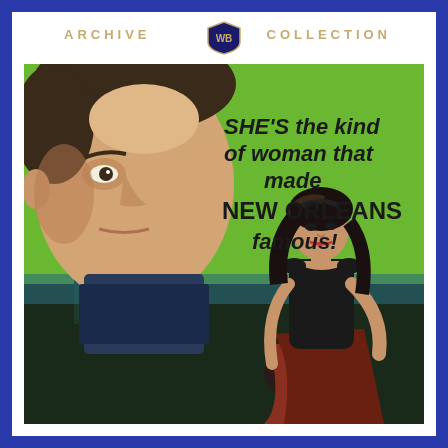ARCHIVE COLLECTION
[Figure (illustration): Vintage movie poster/DVD cover for a Warner Bros. Archive Collection title. Shows a close-up of a man's face on the left, a woman in a black off-shoulder dress in the center-right, and a Southern mansion in the background under a green sky. Text reads: SHE'S the kind of woman that made NEW ORLEANS famous!]